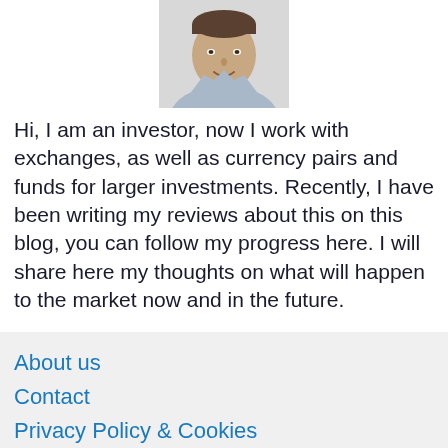[Figure (photo): Headshot photo of a man smiling, wearing a light blue shirt, cropped at shoulders]
Hi, I am an investor, now I work with exchanges, as well as currency pairs and funds for larger investments. Recently, I have been writing my reviews about this on this blog, you can follow my progress here. I will share here my thoughts on what will happen to the market now and in the future.
About us
Contact
Privacy Policy & Cookies
ATTENTION TO RIGHT HOLDERS! All